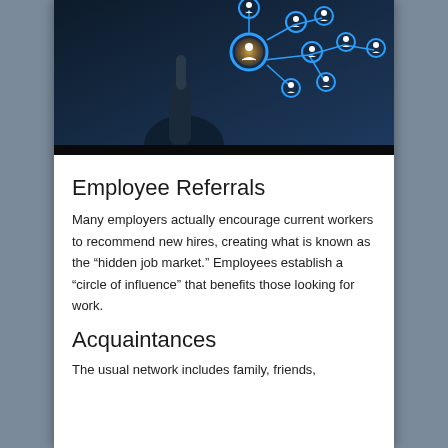[Figure (photo): A person pointing at a glowing network diagram with blue circular person icons connected by lines, representing employee referral networks.]
Employee Referrals
Many employers actually encourage current workers to recommend new hires, creating what is known as the “hidden job market.” Employees establish a “circle of influence” that benefits those looking for work.
Acquaintances
The usual network includes family, friends,